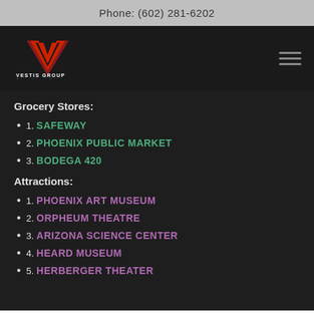Phone: (602) 281-6202
[Figure (logo): Vestis Group logo with red V mark and text 'Vestis Group Brokerage Investment Development' on black background]
Grocery Stores:
1. SAFEWAY
2. PHOENIX PUBLIC MARKET
3. BODEGA 420
Attractions:
1. PHOENIX ART MUSEUM
2. ORPHEUM THEATRE
3. ARIZONA SCIENCE CENTER
4. HEARD MUSEUM
5. HERBERGER THEATER